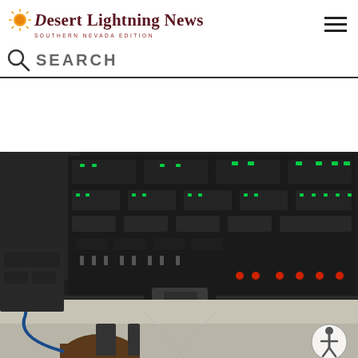Desert Lightning News — SOUTHERN NEVADA EDITION
SEARCH
[Figure (photo): Interior cockpit view of a military aircraft showing overhead instrument panel with numerous gauges, switches and green indicator lights. Cockpit windows show a runway/tarmac below. A pilot's head is visible at the bottom of the frame. An accessibility icon is visible in the lower right corner.]